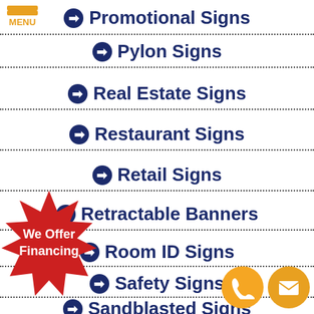[Figure (infographic): Orange hamburger menu icon with three bars and MENU text]
Promotional Signs
Pylon Signs
Real Estate Signs
Restaurant Signs
Retail Signs
Retractable Banners
Room ID Signs
Safety Signs
Sandblasted Signs
[Figure (illustration): Red starburst badge with white text We Offer Financing]
[Figure (illustration): Orange phone circle icon and orange email circle icon]